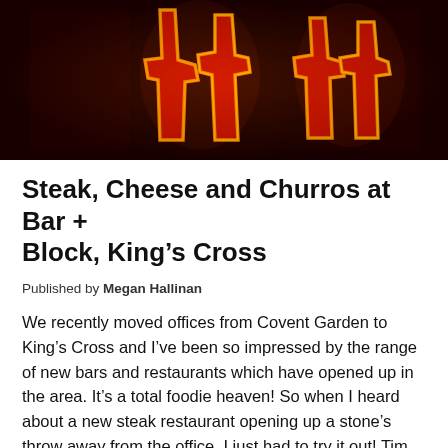[Figure (photo): Neon sign with orange and red glowing letters against a dark red/black background, showing what appears to be a restaurant logo or sign for Bar + Block.]
Steak, Cheese and Churros at Bar + Block, King's Cross
Published by Megan Hallinan
We recently moved offices from Covent Garden to King's Cross and I've been so impressed by the range of new bars and restaurants which have opened up in the area. It's a total foodie heaven! So when I heard about a new steak restaurant opening up a stone's throw away from the office, I just had to try it out! Tim and I visited early evening on a Friday and as you can imagine, the bar was packed with people enjoying a post-work tipple (or two!) as well as tourists visiting the capital. What wasn't clear